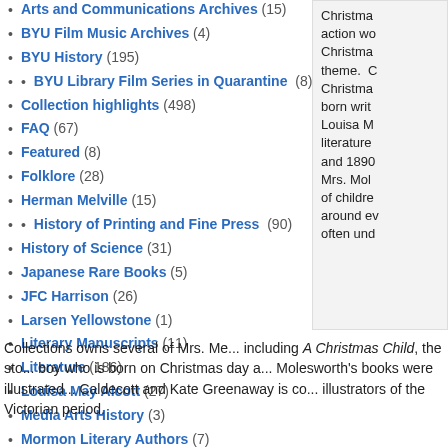Arts and Communications Archives (15)
BYU Film Music Archives (4)
BYU History (195)
BYU Library Film Series in Quarantine (8)
Collection highlights (498)
FAQ (67)
Featured (8)
Folklore (28)
Herman Melville (15)
History of Printing and Fine Press (90)
History of Science (31)
Japanese Rare Books (5)
JFC Harrison (26)
Larsen Yellowstone (1)
Literary Manuscripts (11)
Literature (186)
Louisa May Alcott (27)
Media Arts History (3)
Mormon Literary Authors (7)
Christmas... action wo... Christmas... theme. C... Christmas... born writ... Louisa M... literature... and 1890... Mrs. Mol... of childre... around ev... often und...
Collections owns several of Mrs. Me... including A Christmas Child, the sto... boy who is born on Christmas day a... Molesworth's books were illustrated... Caldecott and Kate Greenaway is co... illustrators of the Victorian period.